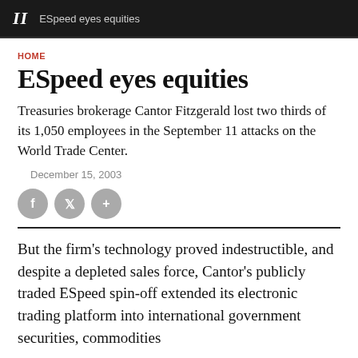II  ESpeed eyes equities
HOME
ESpeed eyes equities
Treasuries brokerage Cantor Fitzgerald lost two thirds of its 1,050 employees in the September 11 attacks on the World Trade Center.
December 15, 2003
But the firm's technology proved indestructible, and despite a depleted sales force, Cantor's publicly traded ESpeed spin-off extended its electronic trading platform into international government securities, commodities